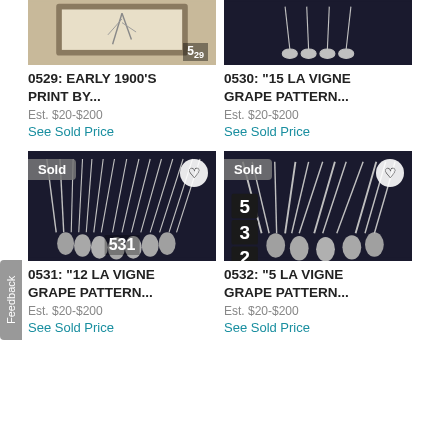[Figure (photo): Partial top view of item 0529 - framed print with number 529 overlay]
0529: EARLY 1900'S PRINT BY...
Est. $20-$200
See Sold Price
[Figure (photo): Partial top view of item 0530 - silverware La Vigne grape pattern]
0530: "15 LA VIGNE GRAPE PATTERN...
Est. $20-$200
See Sold Price
[Figure (photo): Item 0531 - 12 La Vigne grape pattern silver forks on dark background, Sold badge, lot number 531]
0531: "12 LA VIGNE GRAPE PATTERN...
Est. $20-$200
See Sold Price
[Figure (photo): Item 0532 - 5 La Vigne grape pattern silver forks on dark background, Sold badge, lot number 532]
0532: "5 LA VIGNE GRAPE PATTERN...
Est. $20-$200
See Sold Price